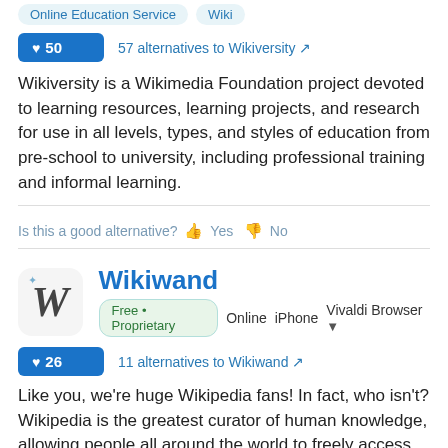Online Education Service   Wiki
♥50   57 alternatives to Wikiversity
Wikiversity is a Wikimedia Foundation project devoted to learning resources, learning projects, and research for use in all levels, types, and styles of education from pre-school to university, including professional training and informal learning.
Is this a good alternative? 👍 Yes 👎 No
Wikiwand
Free • Proprietary   Online   iPhone   Vivaldi Browser
♥26   11 alternatives to Wikiwand
Like you, we're huge Wikipedia fans! In fact, who isn't? Wikipedia is the greatest curator of human knowledge, allowing people all around the world to freely access over 30 million articles.